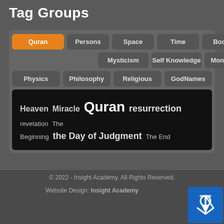Tag Groups
[Figure (screenshot): Tab navigation buttons: Quran (active/orange), Persons, Space, Time, Books, Mysticism, Self Knowledge, Monotheism, Physics, Philosophy, Religious, GodNames]
Heaven Miracle Quran resurrection revelation The Beginning the Day of Judgment The End
© 2022 - Insight Academy. All Rights Reserved.
Website Design: Insight Academy